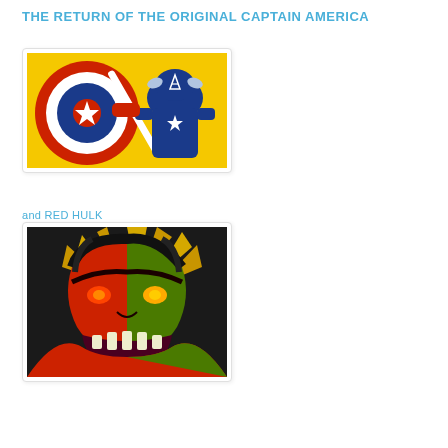THE RETURN OF THE ORIGINAL CAPTAIN AMERICA
[Figure (illustration): Comic art illustration of Captain America holding his iconic red, white, and blue shield against a yellow background]
and RED HULK
[Figure (illustration): Comic art illustration of Red Hulk and Green Hulk merged face, roaring with red and green split face design]